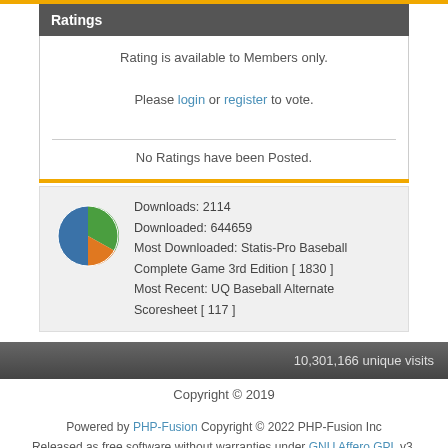Ratings
Rating is available to Members only.

Please login or register to vote.

No Ratings have been Posted.
Downloads: 2114
Downloaded: 644659
Most Downloaded: Statis-Pro Baseball Complete Game 3rd Edition [ 1830 ]
Most Recent: UQ Baseball Alternate Scoresheet [ 117 ]
10,301,166 unique visits
Copyright © 2019
Powered by PHP-Fusion Copyright © 2022 PHP-Fusion Inc
Released as free software without warranties under GNU Affero GPL v3.